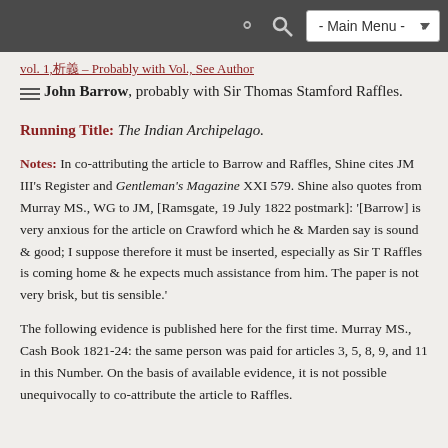- Main Menu -
John Barrow, probably with Sir Thomas Stamford Raffles.
Running Title: The Indian Archipelago.
Notes: In co-attributing the article to Barrow and Raffles, Shine cites JM III's Register and Gentleman's Magazine XXI 579. Shine also quotes from Murray MS., WG to JM, [Ramsgate, 19 July 1822 postmark]: '[Barrow] is very anxious for the article on Crawford which he & Marden say is sound & good; I suppose therefore it must be inserted, especially as Sir T Raffles is coming home & he expects much assistance from him. The paper is not very brisk, but tis sensible.'
The following evidence is published here for the first time. Murray MS., Cash Book 1821-24: the same person was paid for articles 3, 5, 8, 9, and 11 in this Number. On the basis of available evidence, it is not possible unequivocally to co-attribute the article to Raffles.